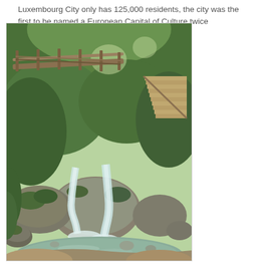Luxembourg City only has 125,000 residents, the city was the first to be named a European Capital of Culture twice
[Figure (photo): Photograph of a natural waterfall scene with large mossy boulders, cascading water into a pool, lush green foliage and trees, a wooden bridge/railing visible in the upper portion, and stone steps on the right side.]